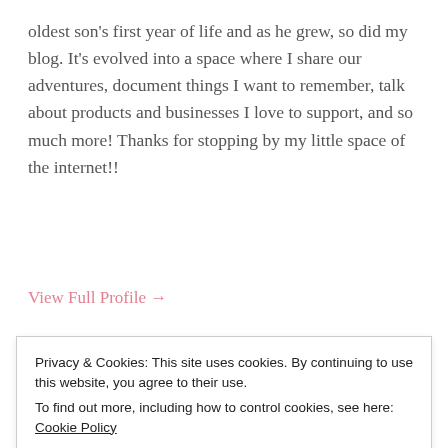oldest son's first year of life and as he grew, so did my blog. It's evolved into a space where I share our adventures, document things I want to remember, talk about products and businesses I love to support, and so much more! Thanks for stopping by my little space of the internet!!
View Full Profile →
[Figure (other): Blue WordPress Follow button labeled 'Follow Freckles and Cheeks']
Subscribe to Blog via Email
Enter your email address to subscribe to this blog and receive
Privacy & Cookies: This site uses cookies. By continuing to use this website, you agree to their use.
To find out more, including how to control cookies, see here: Cookie Policy
Close and accept
SUBSCRIBE